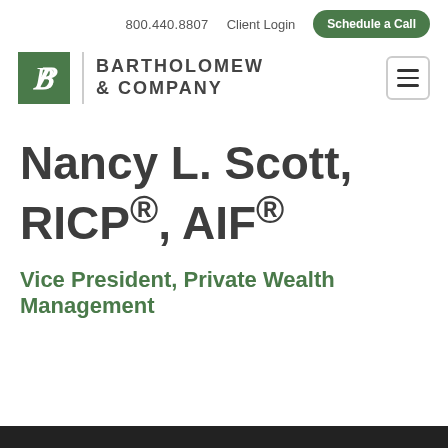800.440.8807   Client Login   Schedule a Call
[Figure (logo): Bartholomew & Company logo — green square with stylized B, vertical divider, company name text]
Nancy L. Scott, RICP®, AIF®
Vice President, Private Wealth Management